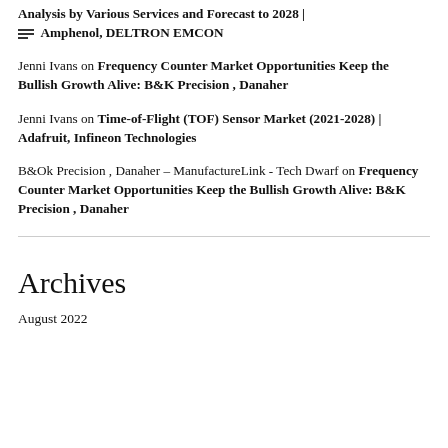Analysis by Various Services and Forecast to 2028 | Amphenol, DELTRON EMCON
Jenni Ivans on Frequency Counter Market Opportunities Keep the Bullish Growth Alive: B&K Precision , Danaher
Jenni Ivans on Time-of-Flight (TOF) Sensor Market (2021-2028) | Adafruit, Infineon Technologies
B&Ok Precision , Danaher – ManufactureLink - Tech Dwarf on Frequency Counter Market Opportunities Keep the Bullish Growth Alive: B&K Precision , Danaher
Archives
August 2022